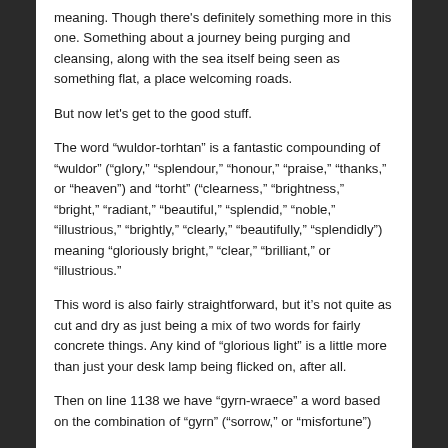meaning. Though there's definitely something more in this one. Something about a journey being purging and cleansing, along with the sea itself being seen as something flat, a place welcoming roads.
But now let's get to the good stuff.
The word “wuldor-torhtan” is a fantastic compounding of “wuldor” (“glory,” “splendour,” “honour,” “praise,” “thanks,” or “heaven”) and “torht” (“clearness,” “brightness,” “bright,” “radiant,” “beautiful,” “splendid,” “noble,” “illustrious,” “brightly,” “clearly,” “beautifully,” “splendidly”) meaning “gloriously bright,” “clear,” “brilliant,” or “illustrious.”
This word is also fairly straightforward, but it’s not quite as cut and dry as just being a mix of two words for fairly concrete things. Any kind of “glorious light” is a little more than just your desk lamp being flicked on, after all.
Then on line 1138 we have “gyrn-wraece” a word based on the combination of “gyrn” (“sorrow,” or “misfortune”)